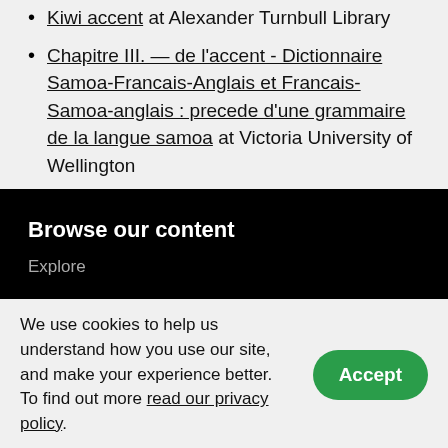Kiwi accent at Alexander Turnbull Library
Chapitre III. — de l'accent - Dictionnaire Samoa-Francais-Anglais et Francais-Samoa-anglais : precede d'une grammaire de la langue samoa at Victoria University of Wellington
Browse our content
Explore
We use cookies to help us understand how you use our site, and make your experience better. To find out more read our privacy policy.